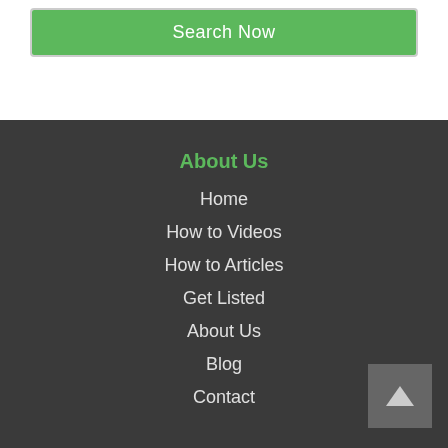Search Now
About Us
Home
How to Videos
How to Articles
Get Listed
About Us
Blog
Contact